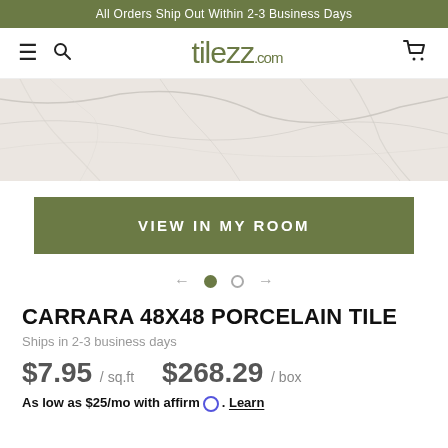All Orders Ship Out Within 2-3 Business Days
[Figure (logo): tilezz.com website header with hamburger menu, search icon, tilezz.com logo, and cart icon]
[Figure (photo): Close-up of white Carrara marble tile texture with grey veining]
VIEW IN MY ROOM
[Figure (other): Carousel navigation with left arrow, filled dot, empty dot, and right arrow]
CARRARA 48X48 PORCELAIN TILE
Ships in 2-3 business days
$7.95 / sq.ft   $268.29 / box
As low as $25/mo with affirm. Learn